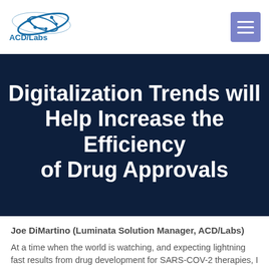[Figure (logo): ACD/Labs logo with orbital/molecular graphic and ACD/Labs text]
Digitalization Trends will Help Increase the Efficiency of Drug Approvals
Joe DiMartino (Luminata Solution Manager, ACD/Labs)
At a time when the world is watching, and expecting lightning fast results from drug development for SARS-COV-2 therapies, I am reflecting on the impediments drug development teams face in releasing an antiviral